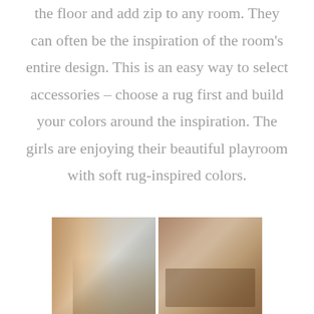the floor and add zip to any room. They can often be the inspiration of the room's entire design. This is an easy way to select accessories – choose a rug first and build your colors around the inspiration. The girls are enjoying their beautiful playroom with soft rug-inspired colors.
[Figure (photo): Two side-by-side interior photos: left shows a hallway with warm tones and a console table with a lamp and plants; right shows a dining area with a wooden table, white chairs, and a patterned rug.]